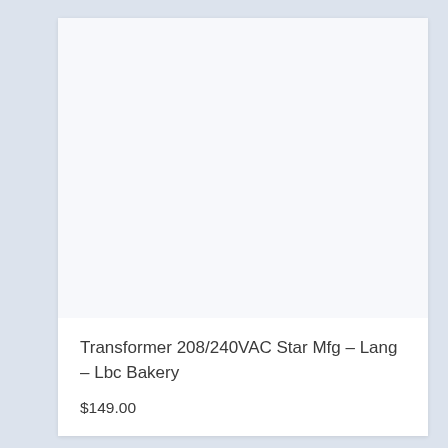[Figure (photo): Product image area — blank/white placeholder for transformer product photo]
Transformer 208/240VAC Star Mfg – Lang – Lbc Bakery
$149.00